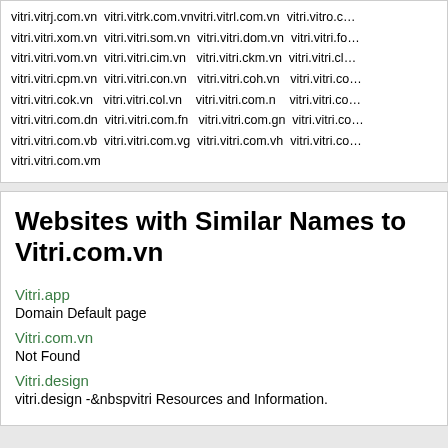vitri.vitrj.com.vn vitri.vitrk.com.vn vitri.vitrl.com.vn vitri.vitro.c... vitri.vitri.xom.vn vitri.vitri.som.vn vitri.vitri.dom.vn vitri.vitri.fo... vitri.vitri.vom.vn vitri.vitri.cim.vn vitri.vitri.ckm.vn vitri.vitri.cl... vitri.vitri.cpm.vn vitri.vitri.con.vn vitri.vitri.coh.vn vitri.vitri.co... vitri.vitri.cok.vn vitri.vitri.col.vn vitri.vitri.com.n vitri.vitri.co... vitri.vitri.com.dn vitri.vitri.com.fn vitri.vitri.com.gn vitri.vitri.co... vitri.vitri.com.vb vitri.vitri.com.vg vitri.vitri.com.vh vitri.vitri.co... vitri.vitri.com.vm
Websites with Similar Names to Vitri.com.vn
Vitri.app
Domain Default page
Vitri.com.vn
Not Found
Vitri.design
vitri.design -&nbspvitri Resources and Information.